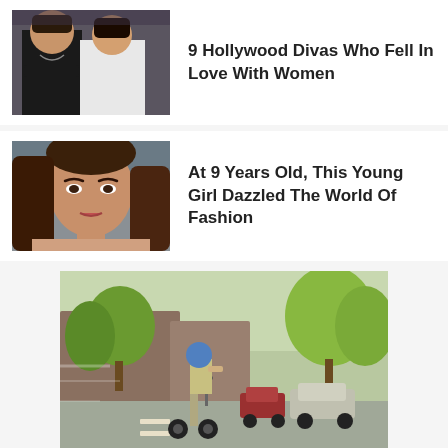[Figure (photo): Two women posing, one in black top with necklace, another in white tank top]
9 Hollywood Divas Who Fell In Love With Women
[Figure (photo): Close-up portrait of a young woman with long brown hair]
At 9 Years Old, This Young Girl Dazzled The World Of Fashion
[Figure (photo): Child riding a scooter on a city street with trees and buildings in the background]